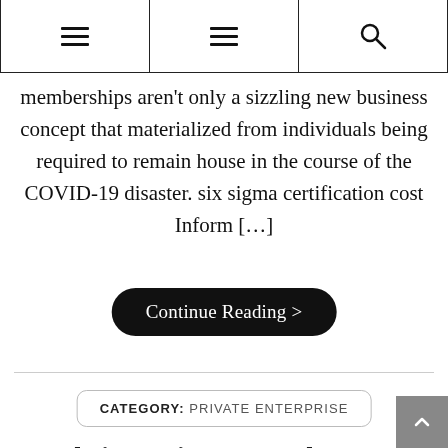Navigation header with hamburger menus and search icon
memberships aren't only a sizzling new business concept that materialized from individuals being required to remain house in the course of the COVID-19 disaster. six sigma certification cost Inform […]
Continue Reading >
CATEGORY: PRIVATE ENTERPRISE
Chrissy Teigen Says She Hasn't 'Totally Processed'